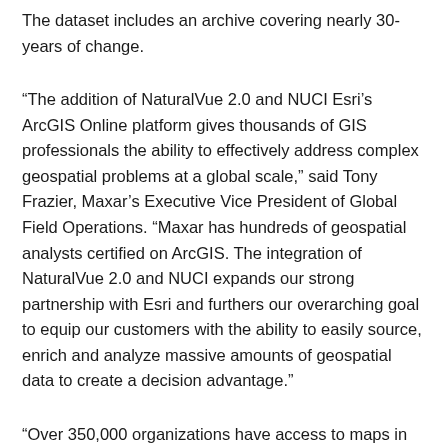The dataset includes an archive covering nearly 30-years of change.
“The addition of NaturalVue 2.0 and NUCI Esri’s ArcGIS Online platform gives thousands of GIS professionals the ability to effectively address complex geospatial problems at a global scale,” said Tony Frazier, Maxar’s Executive Vice President of Global Field Operations. “Maxar has hundreds of geospatial analysts certified on ArcGIS. The integration of NaturalVue 2.0 and NUCI expands our strong partnership with Esri and furthers our overarching goal to equip our customers with the ability to easily source, enrich and analyze massive amounts of geospatial data to create a decision advantage.”
“Over 350,000 organizations have access to maps in ArcGIS Living Atlas of the World,” said Jack Dangermond, Esri founder and president. “We are